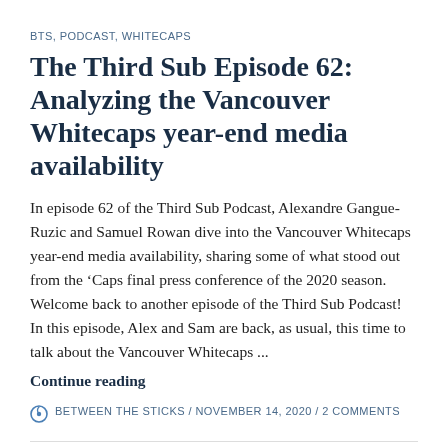BTS, PODCAST, WHITECAPS
The Third Sub Episode 62: Analyzing the Vancouver Whitecaps year-end media availability
In episode 62 of the Third Sub Podcast, Alexandre Gangue-Ruzic and Samuel Rowan dive into the Vancouver Whitecaps year-end media availability, sharing some of what stood out from the ‘Caps final press conference of the 2020 season. Welcome back to another episode of the Third Sub Podcast! In this episode, Alex and Sam are back, as usual, this time to talk about the Vancouver Whitecaps ...
Continue reading
BETWEEN THE STICKS / NOVEMBER 14, 2020 / 2 COMMENTS